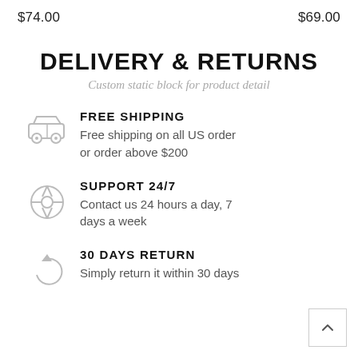$74.00    $69.00
DELIVERY & RETURNS
Custom static block for product detail
FREE SHIPPING
Free shipping on all US order or order above $200
SUPPORT 24/7
Contact us 24 hours a day, 7 days a week
30 DAYS RETURN
Simply return it within 30 days